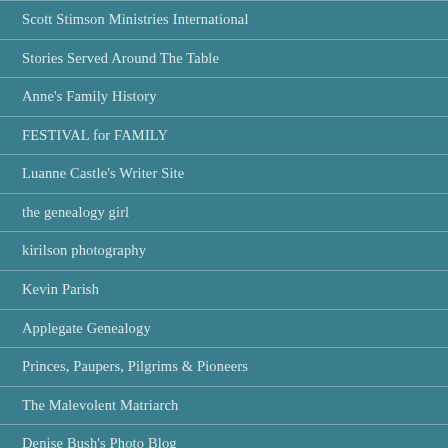Scott Stimson Ministries International
Stories Served Around The Table
Anne's Family History
FESTIVAL for FAMILY
Luanne Castle's Writer Site
the genealogy girl
kirilson photography
Kevin Parish
Applegate Genealogy
Princes, Paupers, Pilgrims & Pioneers
The Malevolent Matriarch
Denise Bush's Photo Blog
The Bright Side - Keto and Healthy Living